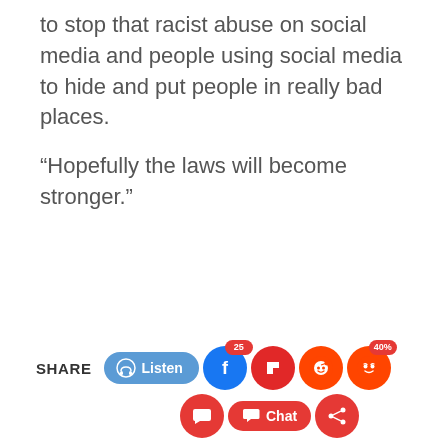to stop that racist abuse on social media and people using social media to hide and put people in really bad places.

“Hopefully the laws will become stronger.”
[Figure (infographic): Social share bar with Listen button, Facebook (25 shares), Flipboard, Reddit, Angry react (40%), comment buttons, chat button, and share button]